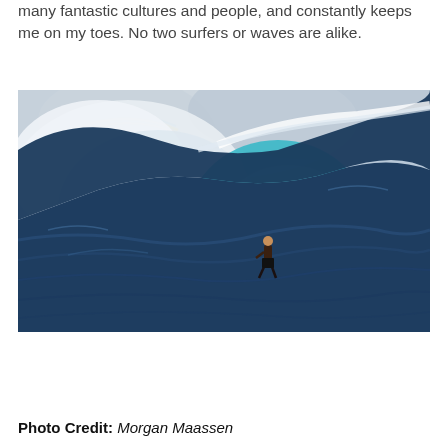many fantastic cultures and people, and constantly keeps me on my toes. No two surfers or waves are alike.
[Figure (photo): A dramatic ocean wave forming a barrel tube, with a lone surfer standing on the wave face inside the curl. A rainbow is visible in the upper left background against a cloudy sky. The wave is deep blue and massive.]
Photo Credit: Morgan Maassen